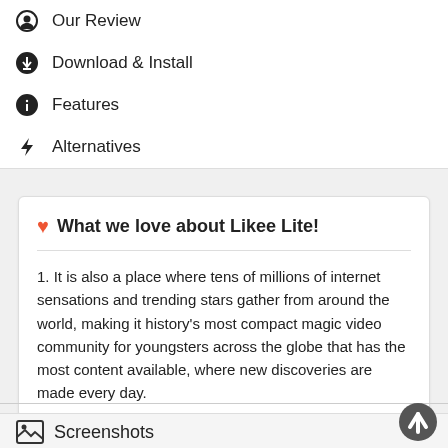Our Review
Download & Install
Features
Alternatives
❤ What we love about Likee Lite!
1. It is also a place where tens of millions of internet sensations and trending stars gather from around the world, making it history's most compact magic video community for youngsters across the globe that has the most content available, where new discoveries are made every day.
Screenshots